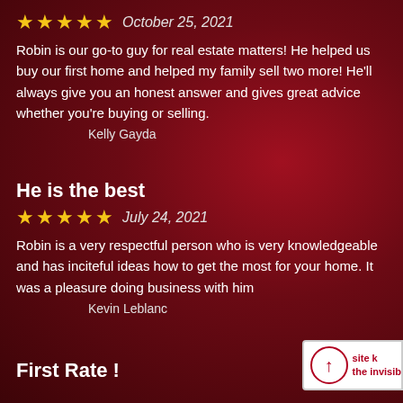October 25, 2021 (5 stars)
Robin is our go-to guy for real estate matters! He helped us buy our first home and helped my family sell two more! He'll always give you an honest answer and gives great advice whether you're buying or selling.
Kelly Gayda
He is the best
July 24, 2021 (5 stars)
Robin is a very respectful person who is very knowledgeable and has inciteful ideas how to get the most for your home. It was a pleasure doing business with him
Kevin Leblanc
First Rate !
[Figure (logo): Watermark logo with upward arrow in red circle and text 'site k... the invisibl...']